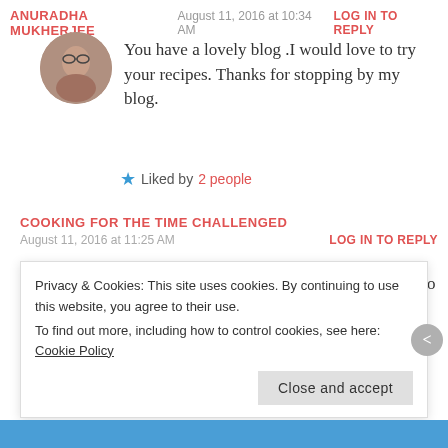ANURADHA MUKHERJEE   August 11, 2016 at 10:34 AM   LOG IN TO REPLY
You have a lovely blog .I would love to try your recipes. Thanks for stopping by my blog.
★ Liked by 2 people
COOKING FOR THE TIME CHALLENGED
August 11, 2016 at 11:25 AM   LOG IN TO REPLY
My pleasure and welcome! Food blogging is so much fun!
Privacy & Cookies: This site uses cookies. By continuing to use this website, you agree to their use. To find out more, including how to control cookies, see here: Cookie Policy
Close and accept